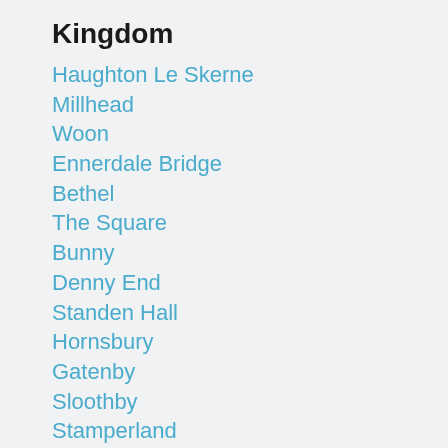Kingdom
Haughton Le Skerne
Millhead
Woon
Ennerdale Bridge
Bethel
The Square
Bunny
Denny End
Standen Hall
Hornsbury
Gatenby
Sloothby
Stamperland
Mathon
Round Oak